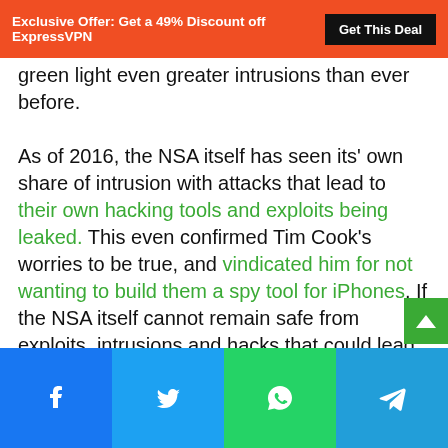Exclusive Offer: Get a 49% Discount off ExpressVPN | Get This Deal
green light even greater intrusions than ever before.

As of 2016, the NSA itself has seen its' own share of intrusion with attacks that lead to their own hacking tools and exploits being leaked. This even confirmed Tim Cook's worries to be true, and vindicated him for not wanting to build them a spy tool for iPhones. If the NSA itself cannot remain safe from exploits, intrusions and hacks that could lead to troves of personal data being freely distributed is not something to take lightly
Facebook | Twitter | WhatsApp | Telegram